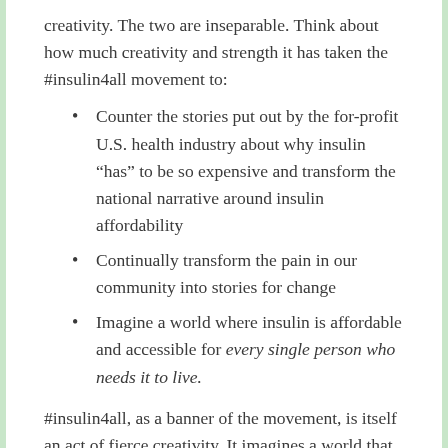creativity. The two are inseparable. Think about how much creativity and strength it has taken the #insulin4all movement to:
Counter the stories put out by the for-profit U.S. health industry about why insulin “has” to be so expensive and transform the national narrative around insulin affordability
Continually transform the pain in our community into stories for change
Imagine a world where insulin is affordable and accessible for every single person who needs it to live.
#insulin4all, as a banner of the movement, is itself an act of fierce creativity. It imagines a world that